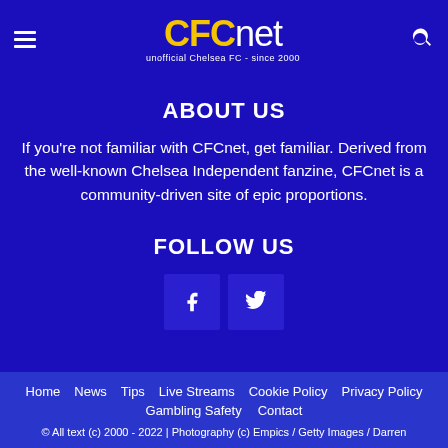CFCnet - unofficial Chelsea FC - since 2000
ABOUT US
If you're not familiar with CFCnet, get familiar. Derived from the well-known Chelsea Independent fanzine, CFCnet is a community-driven site of epic proportions.
FOLLOW US
[Figure (other): Facebook and Twitter social media icon buttons]
Home | News | Tips | Live Streams | Cookie Policy | Privacy Policy | Gambling Safety | Contact | © All text (c) 2000 - 2022 | Photography (c) Empics / Getty Images / Darren